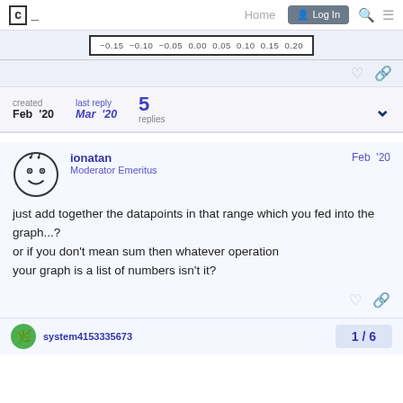C_ Home Log In
[Figure (continuous-plot): Partial x-axis of a histogram or distribution chart showing values: -0.15, -0.10, -0.05, 0.00, 0.05, 0.10, 0.15, 0.20]
created
Feb '20
last reply
Mar '20
5
replies
ionatan
Moderator Emeritus
Feb '20
just add together the datapoints in that range which you fed into the graph...?
or if you don't mean sum then whatever operation
your graph is a list of numbers isn't it?
system4153335673
1 / 6